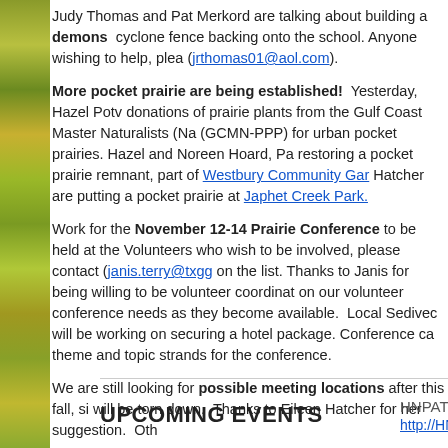Judy Thomas and Pat Merkord are talking about building a demonstration garden at the cyclone fence backing onto the school. Anyone wishing to help, please contact (jrthomas01@aol.com).
More pocket prairie are being established! Yesterday, Hazel Potv... donations of prairie plants from the Gulf Coast Master Naturalists (Na... (GCMN-PPP) for urban pocket prairies. Hazel and Noreen Hoard, Pa... restoring a pocket prairie remnant, part of Westbury Community Gar... Hatcher are putting a pocket prairie at Japhet Creek Park.
Work for the November 12-14 Prairie Conference to be held at the... Volunteers who wish to be involved, please contact (janis.terry@txgg... on the list. Thanks to Janis for being willing to be volunteer coordinat... on our volunteer conference needs as they become available. Local... Sedivec will be working on securing a hotel package. Conference ca... theme and topic strands for the conference.
We are still looking for possible meeting locations after this fall, si... will be torn down. Thanks to Eileen Hatcher for her suggestion. Oth...
UPCOMING EVENTS
HNPAT
http://HNPAT.wordpress.com